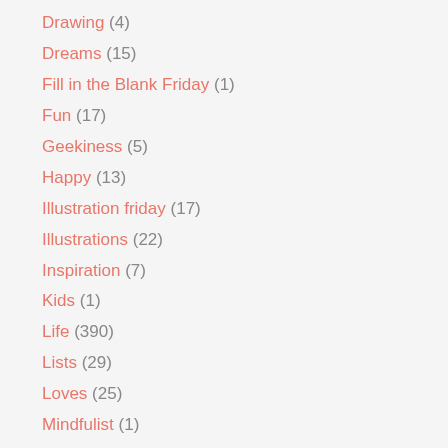Drawing (4)
Dreams (15)
Fill in the Blank Friday (1)
Fun (17)
Geekiness (5)
Happy (13)
Illustration friday (17)
Illustrations (22)
Inspiration (7)
Kids (1)
Life (390)
Lists (29)
Loves (25)
Mindfulist (1)
Mindfulness (18)
Mondo Beyondo (1)